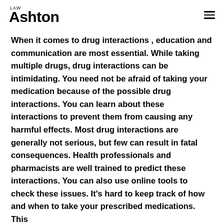LAW Ashton
When it comes to drug interactions , education and communication are most essential. While taking multiple drugs, drug interactions can be intimidating. You need not be afraid of taking your medication because of the possible drug interactions. You can learn about these interactions to prevent them from causing any harmful effects. Most drug interactions are generally not serious, but few can result in fatal consequences. Health professionals and pharmacists are well trained to predict these interactions. You can also use online tools to check these issues. It's hard to keep track of how and when to take your prescribed medications. This